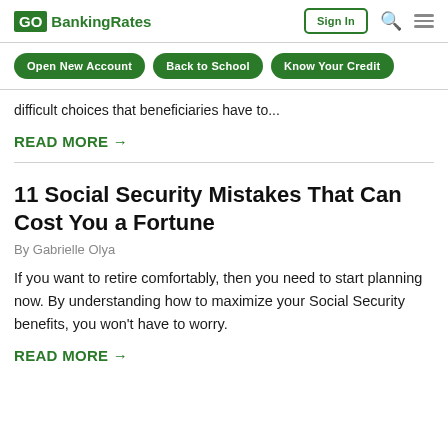GOBankingRates | Sign In | Search | Menu
Open New Account | Back to School | Know Your Credit
difficult choices that beneficiaries have to...
READ MORE →
11 Social Security Mistakes That Can Cost You a Fortune
By Gabrielle Olya
If you want to retire comfortably, then you need to start planning now. By understanding how to maximize your Social Security benefits, you won't have to worry.
READ MORE →